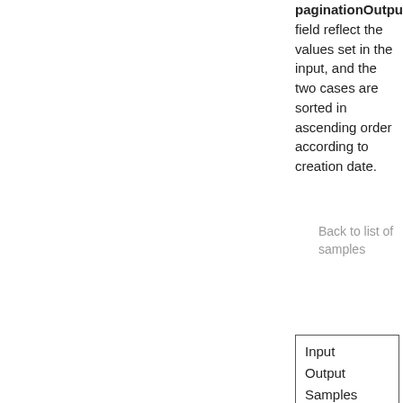paginationOutput field reflect the values set in the input, and the two cases are sorted in ascending order according to creation date.
Back to list of samples
Input
Output
Samples
Change
History